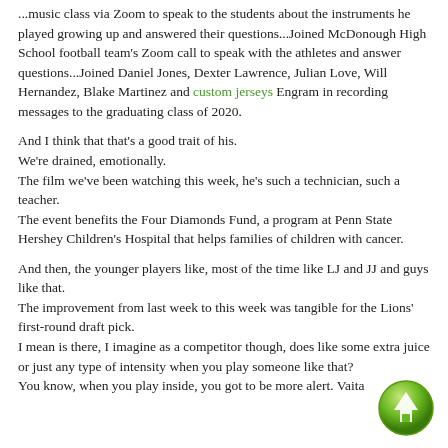...music class via Zoom to speak to the students about the instruments he played growing up and answered their questions...Joined McDonough High School football team's Zoom call to speak with the athletes and answer questions...Joined Daniel Jones, Dexter Lawrence, Julian Love, Will Hernandez, Blake Martinez and custom jerseys Engram in recording messages to the graduating class of 2020.
And I think that that's a good trait of his. We're drained, emotionally. The film we've been watching this week, he's such a technician, such a teacher. The event benefits the Four Diamonds Fund, a program at Penn State Hershey Children's Hospital that helps families of children with cancer.
And then, the younger players like, most of the time like LJ and JJ and guys like that. The improvement from last week to this week was tangible for the Lions' first-round draft pick. I mean is there, I imagine as a competitor though, does like some extra juice or just any type of intensity when you play someone like that? You know, when you play inside, you got to be more alert. Vaita...